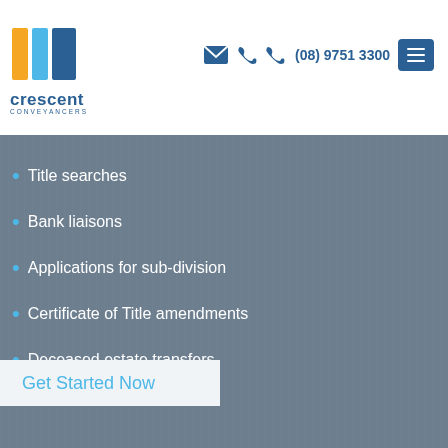[Figure (logo): Crescent Conveyancers logo with yellow and blue stylized bracket shapes, company name 'crescent' in blue, subtitle 'CONVEYANCERS' in small blue text]
[Figure (infographic): Header navigation icons: envelope icon, phone icon, phone icon, phone number (08) 9751 3300, and blue hamburger menu button]
Title searches
Bank liaisons
Applications for sub-division
Certificate of Title amendments
Deceased estate transfers
Get Started Now